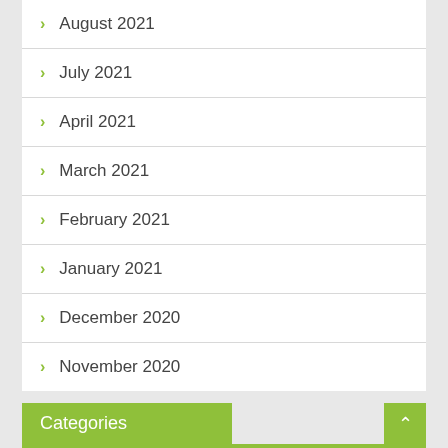August 2021
July 2021
April 2021
March 2021
February 2021
January 2021
December 2020
November 2020
Categories
Cancer